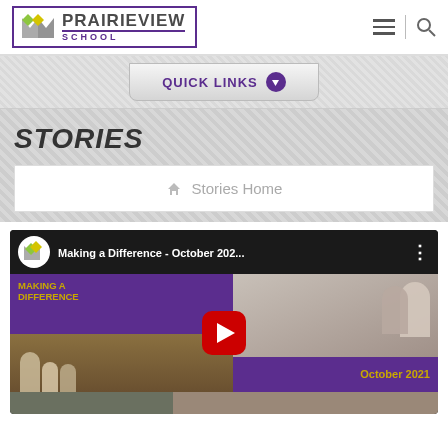Prairieview School
QUICK LINKS
STORIES
Stories Home
[Figure (screenshot): YouTube video thumbnail for 'Making a Difference - October 2021' with Prairieview School branding, showing classroom scenes and staff with masks. Purple and gold color scheme with YouTube play button.]